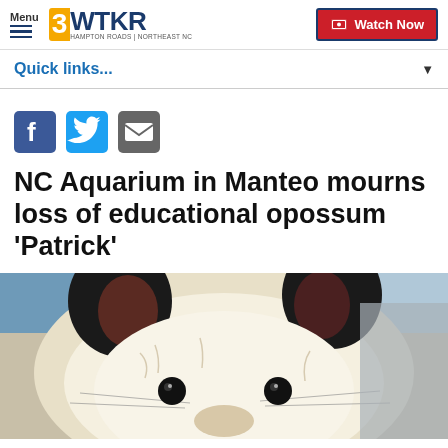Menu | 3WTKR Hampton Roads | Northeast NC | Watch Now
Quick links...
[Figure (other): Social media icons: Facebook (blue), Twitter (blue bird), Email (grey envelope)]
NC Aquarium in Manteo mourns loss of educational opossum 'Patrick'
[Figure (photo): Close-up photo of an opossum face with black ears, white fur, and dark eyes]